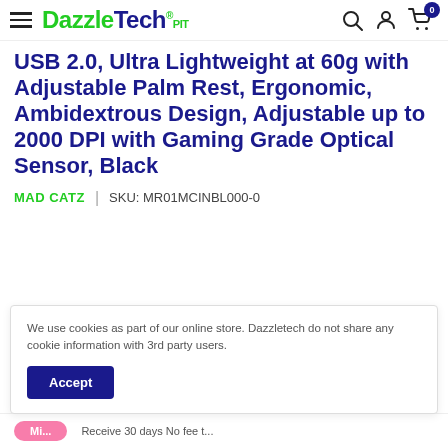DazzleTech® PIT — navigation bar with hamburger menu, search, account, and cart icons
USB 2.0, Ultra Lightweight at 60g with Adjustable Palm Rest, Ergonomic, Ambidextrous Design, Adjustable up to 2000 DPI with Gaming Grade Optical Sensor, Black
MAD CATZ  |  SKU: MR01MCINBL000-0
We use cookies as part of our online store. Dazzletech do not share any cookie information with 3rd party users. Accept